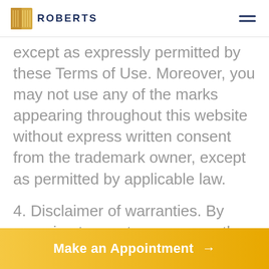ROBERTS
except as expressly permitted by these Terms of Use. Moreover, you may not use any of the marks appearing throughout this website without express written consent from the trademark owner, except as permitted by applicable law.
4. Disclaimer of warranties. By agreeing to grant you access, the Company does not obligate ourselves to do so or to maintain this site, or to maintain it in its present form, and we expressly reserve
Make an Appointment →